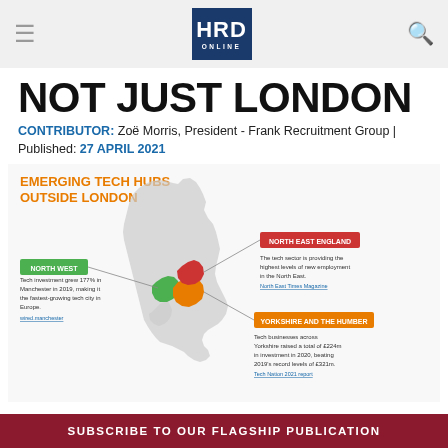HRD ONLINE
NOT JUST LONDON
CONTRIBUTOR: Zoë Morris, President - Frank Recruitment Group | Published: 27 APRIL 2021
[Figure (map): Infographic map of the UK showing Emerging Tech Hubs Outside London. Three regions highlighted: North West (green) - Tech investment grew 177% in Manchester in 2019, making it the fastest-growing tech city in Europe. North East England (red) - The tech sector is providing the highest levels of new employment in the North East. Yorkshire and the Humber (orange) - Tech businesses across Yorkshire raised a total of £224m in investment in 2020, beating 2019's record levels of £321m.]
SUBSCRIBE TO OUR FLAGSHIP PUBLICATION